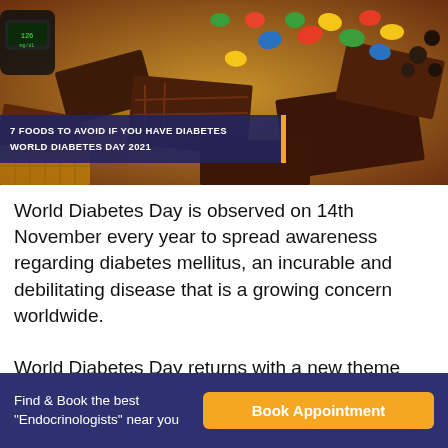[Figure (photo): Photo of various chocolates, candies (colorful M&Ms), and sweets on a surface with a dark blue overlay banner reading '7 FOODS TO AVOID IF YOU HAVE DIABETES – WORLD DIABETES DAY 2021']
World Diabetes Day is observed on 14th November every year to spread awareness regarding diabetes mellitus, an incurable and debilitating disease that is a growing concern worldwide.
World Diabetes Day returns with a new theme after every few years. The theme for World Diabetes Day
Find & Book the best "Endocrinologists" near you  [Book Appointment]